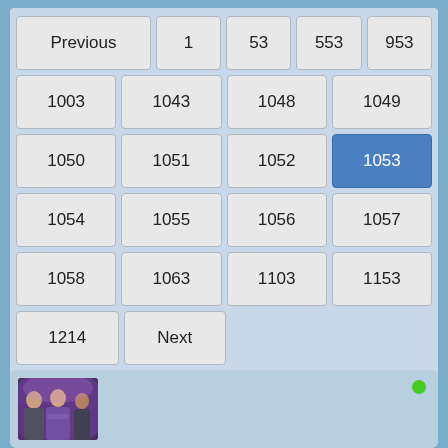[Figure (screenshot): Pagination UI with numbered page buttons. 'Previous', 1, 53, 553, 953 in first row; then 1003, 1043, 1048, 1049; 1050, 1051, 1052, 1053 (highlighted blue/active); 1054, 1055, 1056, 1057; 1058, 1063, 1103, 1153; 1214, Next. Below is a card with a TV show cast photo (three actors) and a green online indicator dot.]